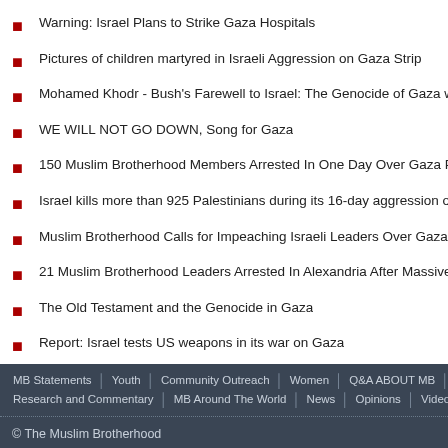Warning: Israel Plans to Strike Gaza Hospitals
Pictures of children martyred in Israeli Aggression on Gaza Strip
Mohamed Khodr - Bush's Farewell to Israel: The Genocide of Gaza with American A...
WE WILL NOT GO DOWN, Song for Gaza
150 Muslim Brotherhood Members Arrested In One Day Over Gaza Protests
Israel kills more than 925 Palestinians during its 16-day aggression on Gaza
Muslim Brotherhood Calls for Impeaching Israeli Leaders Over Gaza War Crimes
21 Muslim Brotherhood Leaders Arrested In Alexandria After Massive Gaza Demos...
The Old Testament and the Genocide in Gaza
Report: Israel tests US weapons in its war on Gaza
MB Statements | Youth | Community Outreach | Women | Q&A ABOUT MB | Inte... Research and Commentary | MB Around The World | News | Opinions | Videos
© The Muslim Brotherhood
All copyright and re-transport from the site of any material are allowed as long as the sou...